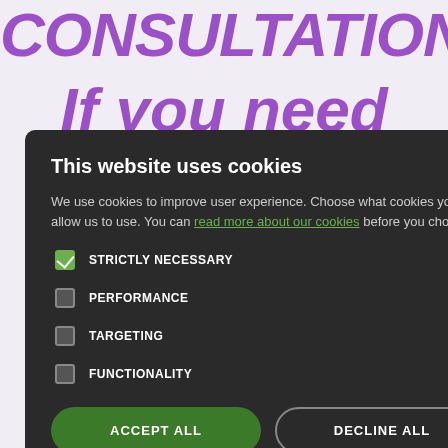CONSULTATION If you need help urgent er or min as consultations aside
[Figure (screenshot): Cookie consent modal dialog on a purple background webpage. The modal has a dark background with title 'This website uses cookies', explanatory text, checkboxes for STRICTLY NECESSARY (checked), PERFORMANCE, TARGETING, FUNCTIONALITY, and two buttons: ACCEPT ALL (green) and DECLINE ALL (outlined).]